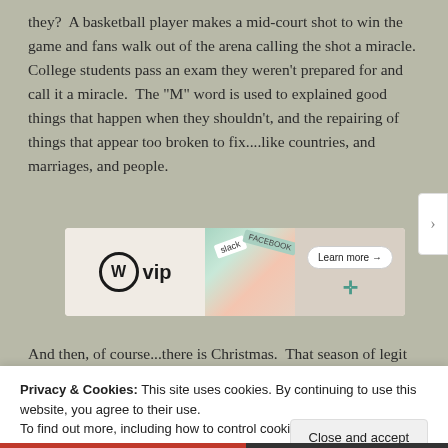they?  A basketball player makes a mid-court shot to win the game and fans walk out of the arena calling the shot a miracle.  College students pass an exam they weren’t prepared for and call it a miracle.  The “M” word is used to explained good things that happen when they shouldn’t, and the repairing of things that appear too broken to fix....like countries, and marriages, and people.
[Figure (other): WordPress VIP advertisement banner with social media brand logos (Slack, Facebook) and a 'Learn more →' button]
And then, of course...there is Christmas.  That season of legit
Privacy & Cookies: This site uses cookies. By continuing to use this website, you agree to their use.
To find out more, including how to control cookies, see here: Cookie Policy
Close and accept